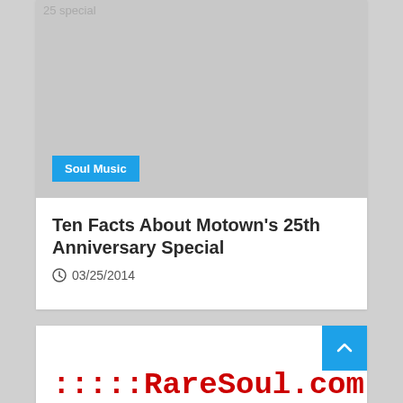[Figure (photo): Gray placeholder image with '25 special' watermark text at top left and 'Soul Music' blue badge at bottom left]
Ten Facts About Motown's 25th Anniversary Special
03/25/2014
::::RareSoul.com